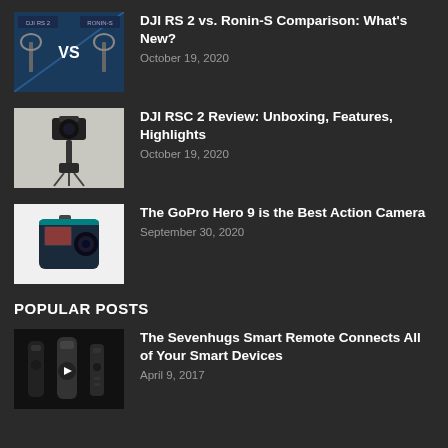[Figure (photo): DJI RS 2 vs Ronin-S comparison thumbnail with VS text on blue background]
DJI RS 2 vs. Ronin-S Comparison: What's New?
October 19, 2020
[Figure (photo): DJI RSC 2 camera gimbal on tripod, grey background]
DJI RSC 2 Review: Unboxing, Features, Highlights
October 19, 2020
[Figure (photo): GoPro Hero 9 action camera on white background]
The GoPro Hero 9 is the Best Action Camera
September 30, 2020
POPULAR POSTS
[Figure (photo): Sevenhugs Smart Remote three remote controls on black background]
The Sevenhugs Smart Remote Connects All of Your Smart Devices
April 9, 2017